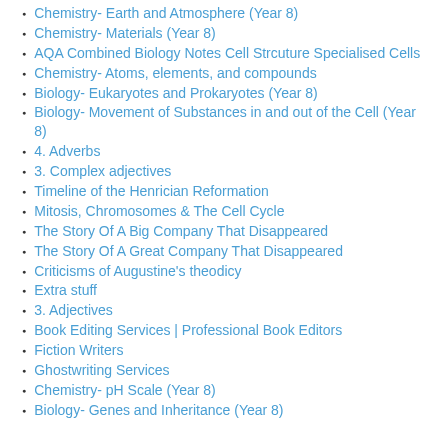Chemistry- Earth and Atmosphere (Year 8)
Chemistry- Materials (Year 8)
AQA Combined Biology Notes Cell Strcuture Specialised Cells
Chemistry- Atoms, elements, and compounds
Biology- Eukaryotes and Prokaryotes (Year 8)
Biology- Movement of Substances in and out of the Cell (Year 8)
4. Adverbs
3. Complex adjectives
Timeline of the Henrician Reformation
Mitosis, Chromosomes & The Cell Cycle
The Story Of A Big Company That Disappeared
The Story Of A Great Company That Disappeared
Criticisms of Augustine's theodicy
Extra stuff
3. Adjectives
Book Editing Services | Professional Book Editors
Fiction Writers
Ghostwriting Services
Chemistry- pH Scale (Year 8)
Biology- Genes and Inheritance (Year 8)